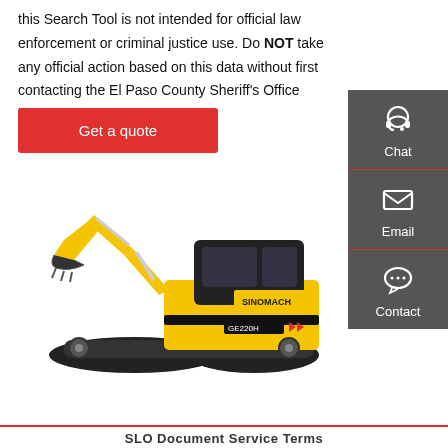this Search Tool is not intended for official law enforcement or criminal justice use. Do NOT take any official action based on this data without first contacting the El Paso County Sheriff's Office booking desk at 719-390-2151.
Get a quote
[Figure (illustration): Yellow SINOMACH GE220H excavator/crawler machine on white background, with yellow boom arm and black tracks]
[Figure (infographic): Dark grey sidebar with three contact options: Chat (headset icon), Email (envelope icon), Contact (speech bubble icon), separated by red horizontal lines]
SLO Document Service Terms